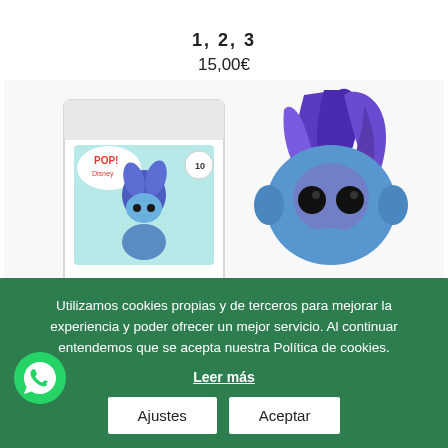1, 2, 3
15,00€
[Figure (photo): Funko Pop Hades figure (blue flame character) shown next to its product box, numbered 10. The figure has blue flame-like hair with purple highlights, big dark eyes, and a blue body. The box shows the Pop! Disney branding.]
Utilizamos cookies propias y de terceros para mejorar la experiencia y poder ofrecer un mejor servicio. Al continuar entendemos que se acepta nuestra Política de cookies.
Leer más
Ajustes
Aceptar